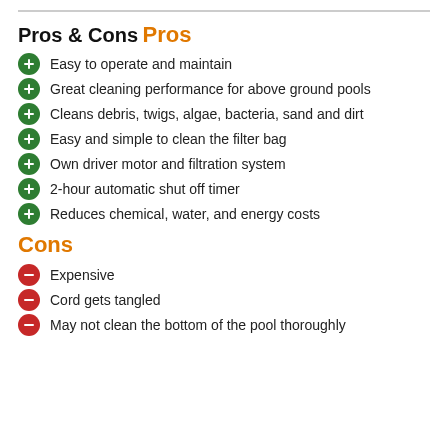Pros & Cons
Pros
Easy to operate and maintain
Great cleaning performance for above ground pools
Cleans debris, twigs, algae, bacteria, sand and dirt
Easy and simple to clean the filter bag
Own driver motor and filtration system
2-hour automatic shut off timer
Reduces chemical, water, and energy costs
Cons
Expensive
Cord gets tangled
May not clean the bottom of the pool thoroughly